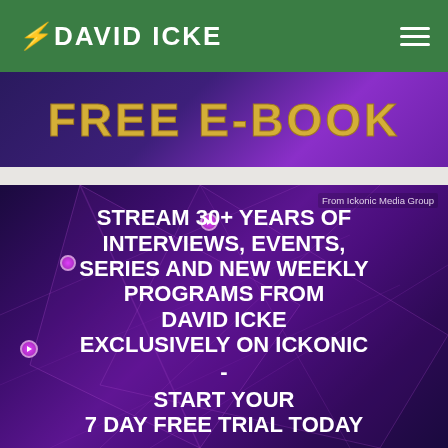DAVID ICKE
[Figure (screenshot): Partial banner showing 'Free e-book' text in gold on purple background]
[Figure (screenshot): Ickonic Media Group promotional banner on dark purple geometric background. Text reads: STREAM 30+ YEARS OF INTERVIEWS, EVENTS, SERIES AND NEW WEEKLY PROGRAMS FROM DAVID ICKE EXCLUSIVELY ON ICKONIC - START YOUR 7 DAY FREE TRIAL TODAY. Attribution: From Ickonic Media Group]